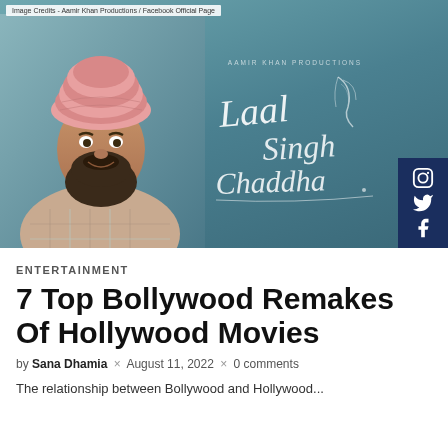[Figure (photo): Hero image for the article showing a man in a pink turban and beard wearing a plaid shirt, with the movie title 'Laal Singh Chaddha' in script lettering on a teal background, and social media icons (Instagram, Twitter, Facebook) on a dark blue sidebar on the right.]
Image Credits - Aamir Khan Productions / Facebook Official Page
ENTERTAINMENT
7 Top Bollywood Remakes Of Hollywood Movies
by Sana Dhamia × August 11, 2022 × 0 comments
The relationship between Bollywood and Hollywood...